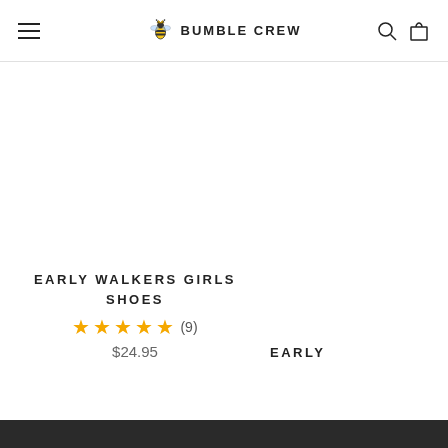BUMBLE CREW — navigation header with hamburger menu, logo, search and cart icons
EARLY WALKERS GIRLS SHOES
★★★★★ (9)
$24.95
EARLY